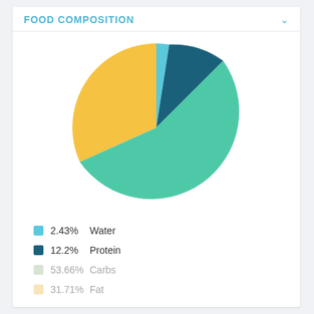FOOD COMPOSITION
[Figure (pie-chart): Food Composition]